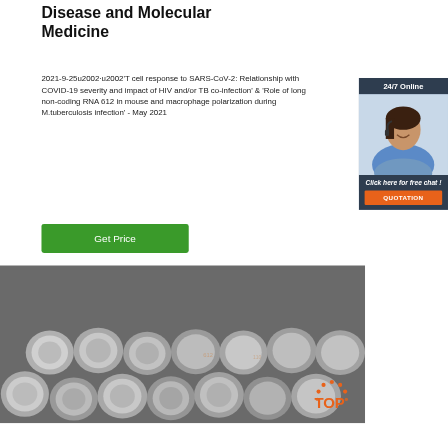Disease and Molecular Medicine
2021-9-25u2002·u2002'T cell response to SARS-CoV-2: Relationship with COVID-19 severity and impact of HIV and/or TB co-infection' & 'Role of long non-coding RNA 612 in mouse and macrophage polarization during M.tuberculosis infection' - May 2021
[Figure (other): Green 'Get Price' button]
[Figure (photo): Customer service representative with headset, 24/7 Online chat widget overlay with orange QUOTATION button]
[Figure (photo): Stack of metal cylindrical rods viewed from end, industrial photo]